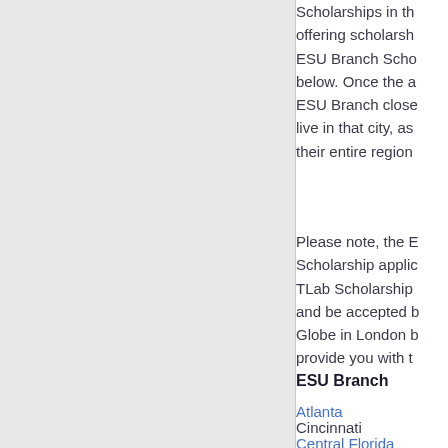Scholarships in th offering scholarsh ESU Branch Scho below. Once the a ESU Branch close live in that city, as their entire region
Please note, the E Scholarship applic TLab Scholarship and be accepted b Globe in London b provide you with t
ESU Branch
Atlanta
Cincinnati
Central Florida
Charlottesville